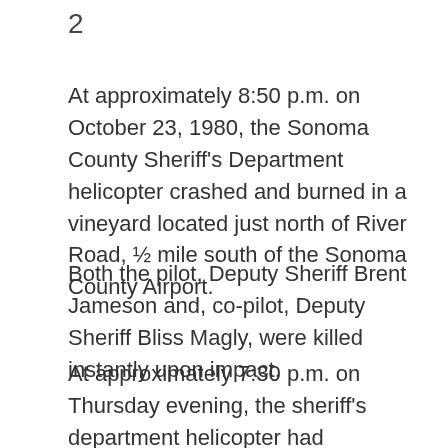2
At approximately 8:50 p.m. on October 23, 1980, the Sonoma County Sheriff's Department helicopter crashed and burned in a vineyard located just north of River Road, ½ mile south of the Sonoma County Airport.
Both the pilot, Deputy Sheriff Brent Jameson and, co-pilot, Deputy Sheriff Bliss Magly, were killed instantly upon impact.
At approximately 7:30 p.m. on Thursday evening, the sheriff's department helicopter had responded to assist in an earlier incident wherein a California Highway Patrol Officer had been shot at. The helicopter was